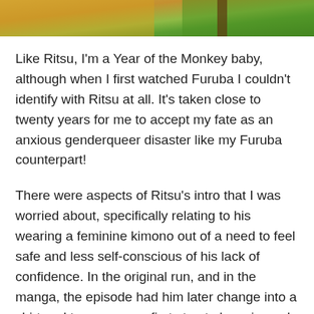[Figure (illustration): Partial anime-style illustration showing characters from Fruits Basket (Furuba), with warm orange/yellow background and green clothing visible at top of page.]
Like Ritsu, I'm a Year of the Monkey baby, although when I first watched Furuba I couldn't identify with Ritsu at all. It's taken close to twenty years for me to accept my fate as an anxious genderqueer disaster like my Furuba counterpart!
There were aspects of Ritsu's intro that I was worried about, specifically relating to his wearing a feminine kimono out of a need to feel safe and less self-conscious of his lack of confidence. In the original run, and in the manga, the episode had him later change into a shirt and trousers as a first step to 'growing up', and I didn't especially want to see that happen again. Luckily, that didn't happen, and instead we got to focus on Tohru's